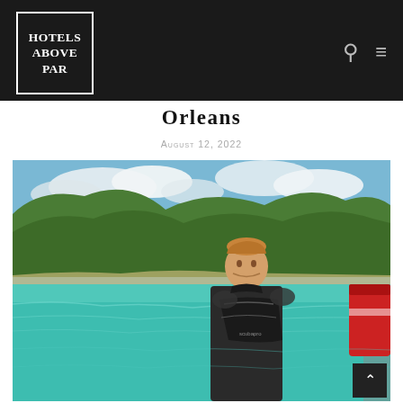HOTELS ABOVE PAR
Orleans
August 12, 2022
[Figure (photo): A man in a black wetsuit standing on a boat with turquoise water and green coastal cliffs in the background, with a red buoy visible to the right.]